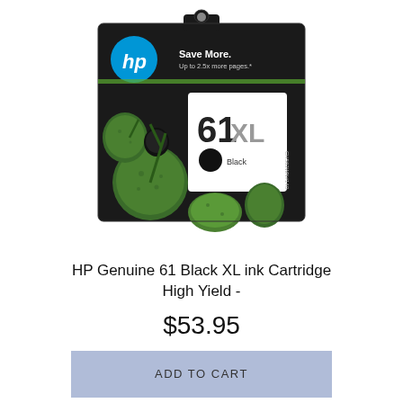[Figure (photo): HP Genuine 61 Black XL ink cartridge product packaging photo. Black box with HP logo, Save More text, 61XL label, black ink dot, and green/dark background imagery.]
HP Genuine 61 Black XL ink Cartridge High Yield -
$53.95
ADD TO CART